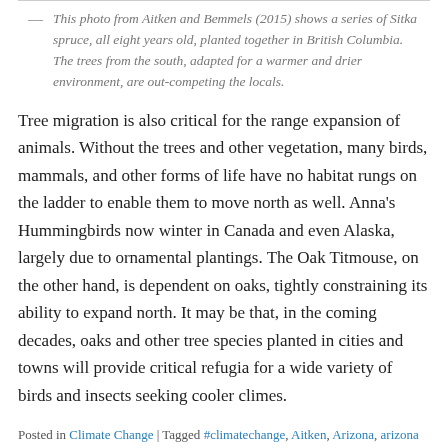This photo from Aitken and Bemmels (2015) shows a series of Sitka spruce, all eight years old, planted together in British Columbia. The trees from the south, adapted for a warmer and drier environment, are out-competing the locals.
Tree migration is also critical for the range expansion of animals. Without the trees and other vegetation, many birds, mammals, and other forms of life have no habitat rungs on the ladder to enable them to move north as well. Anna’s Hummingbirds now winter in Canada and even Alaska, largely due to ornamental plantings. The Oak Titmouse, on the other hand, is dependent on oaks, tightly constraining its ability to expand north. It may be that, in the coming decades, oaks and other tree species planted in cities and towns will provide critical refugia for a wide variety of birds and insects seeking cooler climes.
Posted in Climate Change | Tagged #climatechange, Aitken, Arizona, arizona oak, assisted migration, Bemmels, blue oak, climate, Climate Change, climate